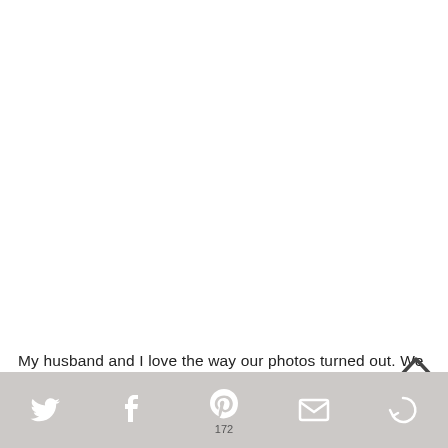[Figure (photo): Large white/blank image area occupying the upper portion of the page]
My husband and I love the way our photos turned out. We got them within a few days, even before we left Paris
Social sharing bar with Twitter, Facebook, Pinterest (172), Email, and another icon